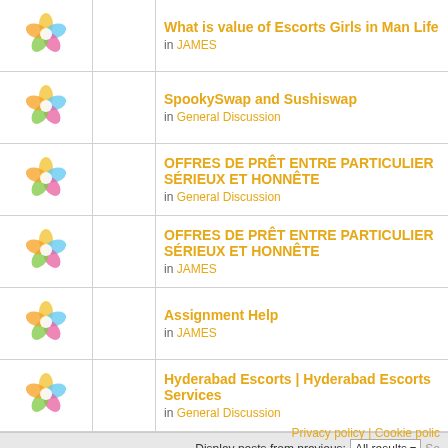What is value of Escorts Girls in Man Life in JAMES
SpookySwap and Sushiswap in General Discussion
OFFRES DE PRÊT ENTRE PARTICULIER SÉRIEUX ET HONNÊTE in General Discussion
OFFRES DE PRÊT ENTRE PARTICULIER SÉRIEUX ET HONNÊTE in JAMES
Assignment Help in JAMES
Hyderabad Escorts | Hyderabad Escorts Services in General Discussion
Display posts from previous: All results
Page 1 of 25 [ Search found more than 1000 matches ]
Board index
Privacy policy | Cookie polic